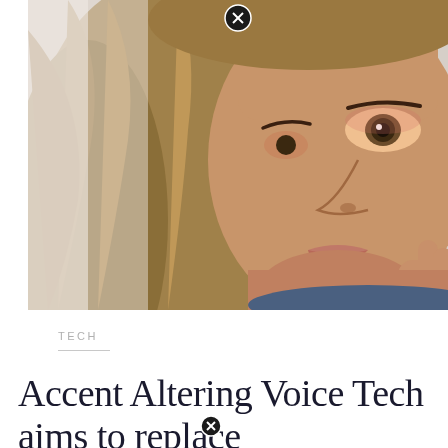[Figure (photo): Close-up photo of a young woman with long blonde/brown hair, looking sideways with expressive eyes, wearing light blue clothing. She has pink eye makeup and is holding her hand near her chin. A circular close/cancel button overlay appears at the top center of the image.]
TECH
Accent Altering Voice Tech aims to replace